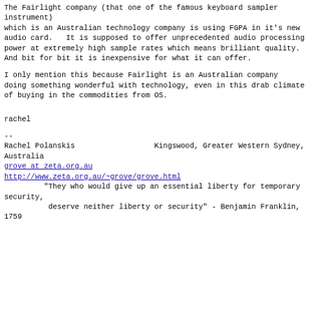The Fairlight company (that one of the famous keyboard sampler instrument)
which is an Australian technology company is using FGPA in it's new
audio card.   It is supposed to offer unprecedented audio processing
power at extremely high sample rates which means brilliant quality.
And bit for bit it is inexpensive for what it can offer.
I only mention this because Fairlight is an Australian company
doing something wonderful with technology, even in this drab climate
of buying in the commodities from OS.
rachel
--
Rachel Polanskis                  Kingswood, Greater Western Sydney, Australia
grove at zeta.org.au
http://www.zeta.org.au/~grove/grove.html
         "They who would give up an essential liberty for temporary security,
          deserve neither liberty or security" - Benjamin Franklin, 1759